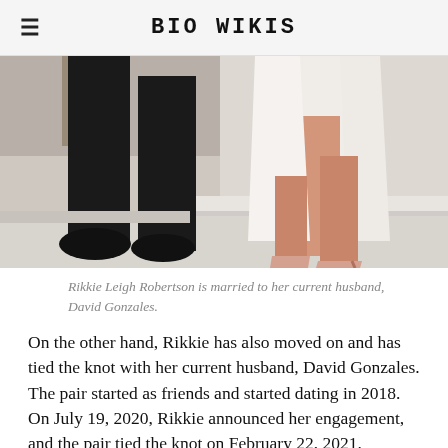BIO WIKIS
[Figure (photo): Photo showing the lower bodies/legs of a couple: a man in black pants and black shoes on the left, and a woman in a pink/white dress with pink strappy heels on the right, standing on a light carpet near a staircase.]
Rikkie Leigh Robertson is married to her current husband, David Gonzales.
On the other hand, Rikkie has also moved on and has tied the knot with her current husband, David Gonzales. The pair started as friends and started dating in 2018. On July 19, 2020, Rikkie announced her engagement, and the pair tied the knot on February 22, 2021.